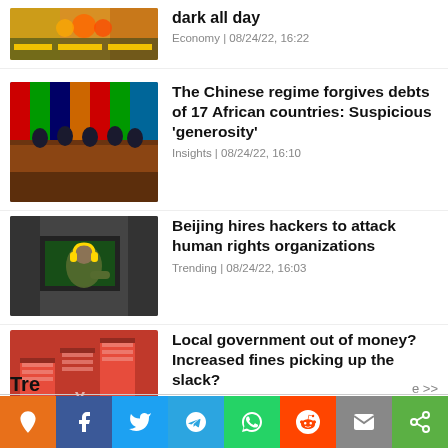dark all day | Economy | 08/24/22, 16:22
The Chinese regime forgives debts of 17 African countries: Suspicious 'generosity' | Insights | 08/24/22, 16:10
Beijing hires hackers to attack human rights organizations | Trending | 08/24/22, 16:03
Local government out of money? Increased fines picking up the slack? | Trending | 08/24/22, 15:52